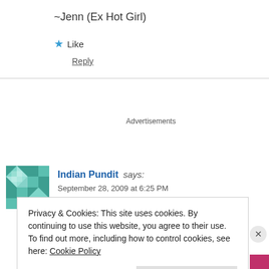~Jenn (Ex Hot Girl)
★ Like
Reply
Advertisements
Indian Pundit says: September 28, 2009 at 6:25 PM
Privacy & Cookies: This site uses cookies. By continuing to use this website, you agree to their use.
To find out more, including how to control cookies, see here: Cookie Policy
Close and accept